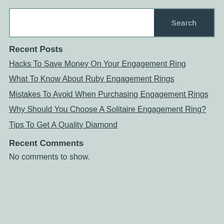[Figure (screenshot): Search bar with white input field and dark navy 'Search' button]
Recent Posts
Hacks To Save Money On Your Engagement Ring
What To Know About Ruby Engagement Rings
Mistakes To Avoid When Purchasing Engagement Rings
Why Should You Choose A Solitaire Engagement Ring?
Tips To Get A Quality Diamond
Recent Comments
No comments to show.